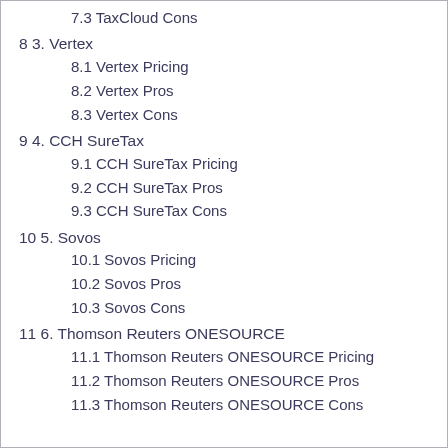7.3 TaxCloud Cons
8 3. Vertex
8.1 Vertex Pricing
8.2 Vertex Pros
8.3 Vertex Cons
9 4. CCH SureTax
9.1 CCH SureTax Pricing
9.2 CCH SureTax Pros
9.3 CCH SureTax Cons
10 5. Sovos
10.1 Sovos Pricing
10.2 Sovos Pros
10.3 Sovos Cons
11 6. Thomson Reuters ONESOURCE
11.1 Thomson Reuters ONESOURCE Pricing
11.2 Thomson Reuters ONESOURCE Pros
11.3 Thomson Reuters ONESOURCE Cons